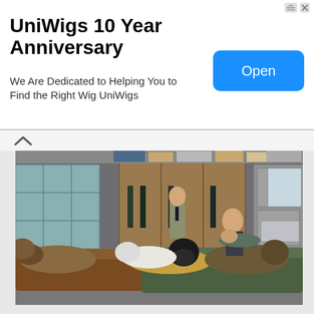UniWigs 10 Year Anniversary
We Are Dedicated to Helping You to Find the Right Wig UniWigs
[Figure (other): Blue 'Open' button on advertisement banner]
[Figure (photo): Indoor scene showing people in animal costumes lying on furniture in what appears to be a locker room or break room, with one man in casual clothes standing, looking surprised]